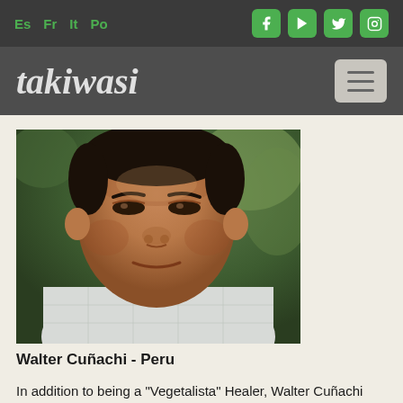Es Fr It Po — navigation with Facebook, YouTube, Twitter, Instagram icons
takiwasi
[Figure (photo): Close-up portrait photo of Walter Cuñachi, a middle-aged indigenous man from Peru wearing a light plaid collared shirt, with green foliage visible in the background]
Walter Cuñachi - Peru
In addition to being a "Vegetalista" Healer, Walter Cuñachi